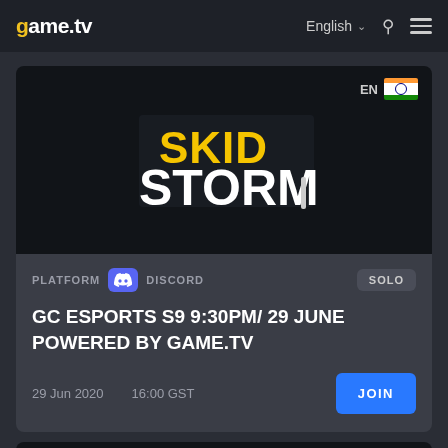game.tv   English   [search] [menu]
[Figure (screenshot): Skid Storm game logo on dark background with Indian flag badge showing EN]
PLATFORM  DISCORD  SOLO
GC ESPORTS S9 9:30PM/ 29 JUNE POWERED BY GAME.TV
29 Jun 2020   16:00 GST   JOIN